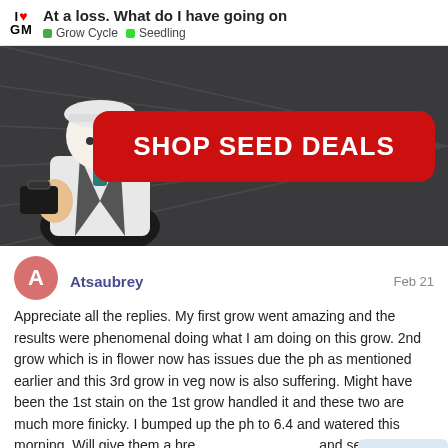At a loss. What do I have going on | Grow Cycle | Seedling
[Figure (illustration): Advertisement banner with cartoon illustration of a person in white coat on dark background, with a red rounded rectangle button reading SHOP SEED DEALS]
Atsaubrey   Feb 21
Appreciate all the replies. My first grow went amazing and the results were phenomenal doing what I am doing on this grow. 2nd grow which is in flower now has issues due the ph as mentioned earlier and this 3rd grow in veg now is also suffering. Might have been the 1st stain on the 1st grow handled it and these two are much more finicky. I bumped up the ph to 6.4 and watered this morning. Will give them a bre and see how they respond to 6.4 thru the v
16 / 16